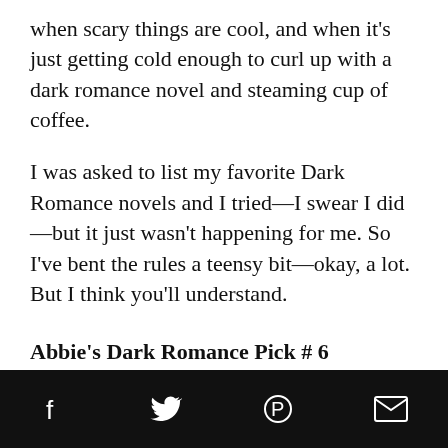when scary things are cool, and when it's just getting cold enough to curl up with a dark romance novel and steaming cup of coffee.
I was asked to list my favorite Dark Romance novels and I tried—I swear I did—but it just wasn't happening for me. So I've bent the rules a teensy bit—okay, a lot. But I think you'll understand.
Abbie's Dark Romance Pick # 6
[Figure (photo): Book cover with quote: 'Gripping … vivid characters and a wonderful sense of pace … I was enthralled.' — Charlaine Harris. Dark atmospheric cover showing a close-up of a person's eye and partial face in blue and gold tones.]
Social share icons: Facebook, Twitter, Pinterest, Email